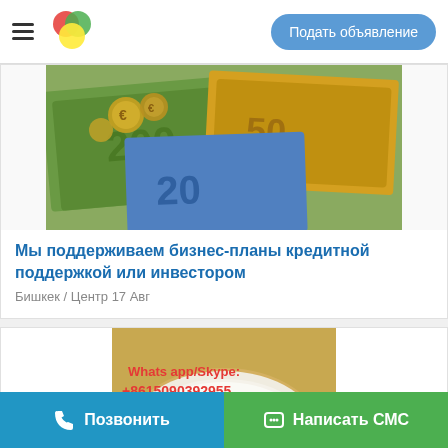Подать объявление
[Figure (photo): Euro banknotes and coins scattered on a surface]
Мы поддерживаем бизнес-планы кредитной поддержкой или инвестором
Бишкек / Центр 17 Авг
[Figure (photo): White powder in a bowl with text overlay: Whats app/Skype: +8615090392955, Wickr: rspenny]
Поделиться
Позвонить   Написать СМС